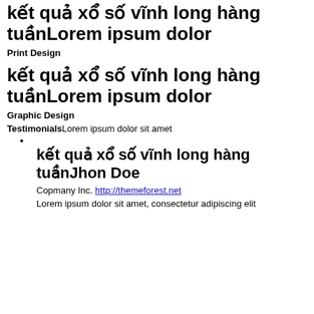kết quả xổ số vĩnh long hàng tuầnLorem ipsum dolor
Print Design
kết quả xổ số vĩnh long hàng tuầnLorem ipsum dolor
Graphic Design
TestimonialsLorem ipsum dolor sit amet
kết quả xổ số vĩnh long hàng tuầnJhon Doe
Copmany Inc. http://themeforest.net
Lorem ipsum dolor sit amet, consectetur adipiscing elit